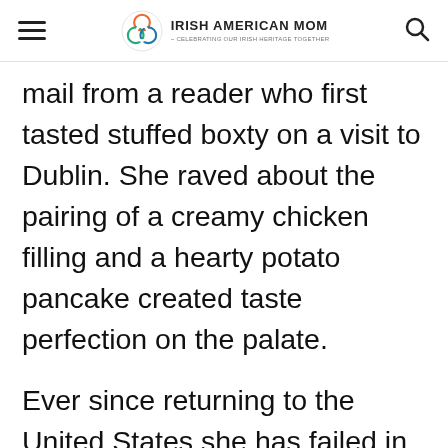Irish American Mom - Celebrating Our Irish Heritage Together
mail from a reader who first tasted stuffed boxty on a visit to Dublin. She raved about the pairing of a creamy chicken filling and a hearty potato pancake created taste perfection on the palate.
Ever since returning to the United States she has failed in her attempts to recreate the